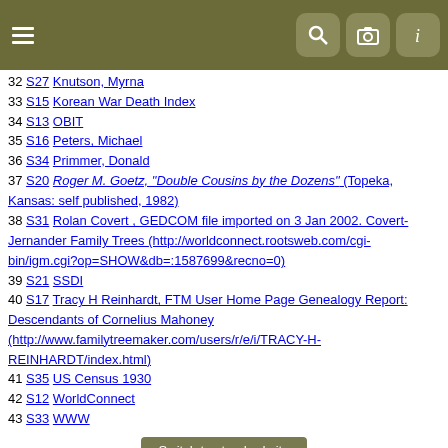Navigation header with hamburger menu and icons for search, camera, and info
32 S27 Knutson, Myrna
33 S15 Korean War Death Index
34 S13 OBIT
35 S16 Peters, Michael
36 S34 Primmer, Donald
37 S20 Roger M. Goetz, "Double Cousins by the Dozens" (Topeka, Kansas: self published, 1982)
38 S31 Rolan Covert , GEDCOM file imported on 3 Jan 2002. Covert-Jernander Family Trees (http://worldconnect.rootsweb.com/cgi-bin/igm.cgi?op=SHOW&db=:1587699&recno=0)
39 S21 SSDI
40 S17 Tracy H Reinhardt, FTM User Home Page Genealogy Report: Descendants of Cornelius Mahoney (http://www.familytreemaker.com/users/r/e/i/TRACY-H-REINHARDT/index.html)
41 S35 US Census 1930
42 S12 WorldConnect
43 S33 WWW
Switch to standard site
This site powered by   ©, v. 12.0.2, written by Darrin Lythgoe 2001-2022. Maintained by .